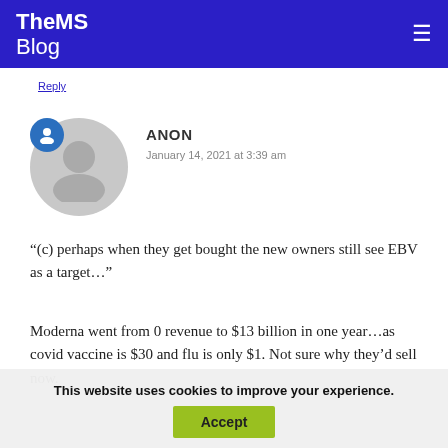TheMS Blog
Reply
ANON
January 14, 2021 at 3:39 am
“(c) perhaps when they get bought the new owners still see EBV as a target…”
Moderna went from 0 revenue to $13 billion in one year…as covid vaccine is $30 and flu is only $1. Not sure why they’d sell now.
This website uses cookies to improve your experience.
Accept